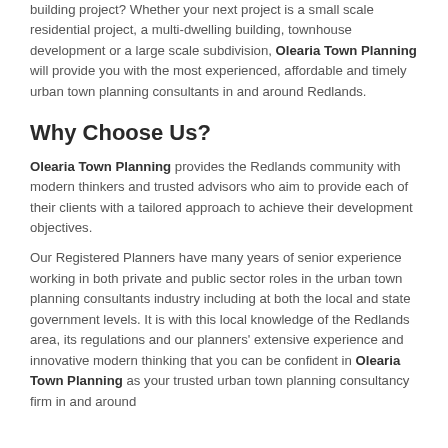building project? Whether your next project is a small scale residential project, a multi-dwelling building, townhouse development or a large scale subdivision, Olearia Town Planning will provide you with the most experienced, affordable and timely urban town planning consultants in and around Redlands.
Why Choose Us?
Olearia Town Planning provides the Redlands community with modern thinkers and trusted advisors who aim to provide each of their clients with a tailored approach to achieve their development objectives.
Our Registered Planners have many years of senior experience working in both private and public sector roles in the urban town planning consultants industry including at both the local and state government levels. It is with this local knowledge of the Redlands area, its regulations and our planners' extensive experience and innovative modern thinking that you can be confident in Olearia Town Planning as your trusted urban town planning consultancy firm in and around